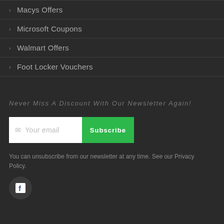Macys Offers
Microsoft Coupons
Walmart Offers
Foot Locker Vouchers
Never Miss A Discount With Our Newsletter Again!
Your email  Subscribe
You can unsubscribe from our newsletter at any time. See our Privacy Policy.
[Figure (logo): Facebook icon in a dark circle]